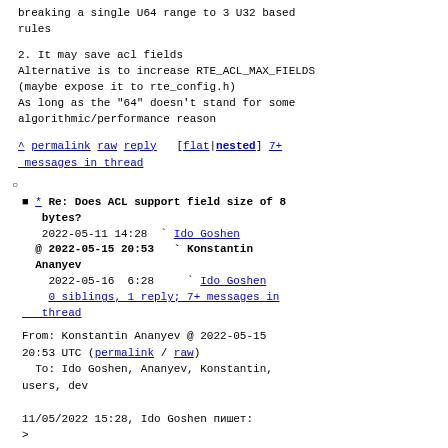breaking a single U64 range to 3 U32 based rules
2. It may save acl fields
Alternative is to increase RTE_ACL_MAX_FIELDS
(maybe expose it to rte_config.h)
As long as the "64" doesn't stand for some
algorithmic/performance reason
^ permalink raw reply [flat|nested] 7+ messages in thread
o
* Re: Does ACL support field size of 8 bytes?
2022-05-11 14:28  ` Ido Goshen
@ 2022-05-15 20:53  ` Konstantin Ananyev
  2022-05-16  6:28    ` Ido Goshen
  0 siblings, 1 reply; 7+ messages in thread
From: Konstantin Ananyev @ 2022-05-15 20:53 UTC (permalink / raw)
  To: Ido Goshen, Ananyev, Konstantin, users, dev

11/05/2022 15:28, Ido Goshen пишет:
>
>